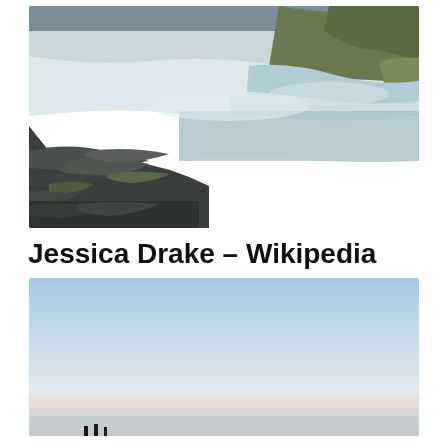[Figure (photo): Long-exposure photograph of a large waterfall with rushing white water over rocky ledges, dark basalt rock formations in the foreground, green hillside in the background, overcast sky]
Jessica Drake – Wikipedia
[Figure (photo): Sunset or sunrise photo with a pale blue-to-warm gradient sky, calm water horizon, small silhouetted figures visible at the bottom edge]